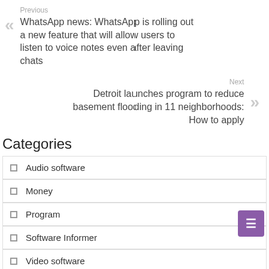Previous
WhatsApp news: WhatsApp is rolling out a new feature that will allow users to listen to voice notes even after leaving chats
Next
Detroit launches program to reduce basement flooding in 11 neighborhoods: How to apply
Categories
Audio software
Money
Program
Software Informer
Video software
Recent Posts